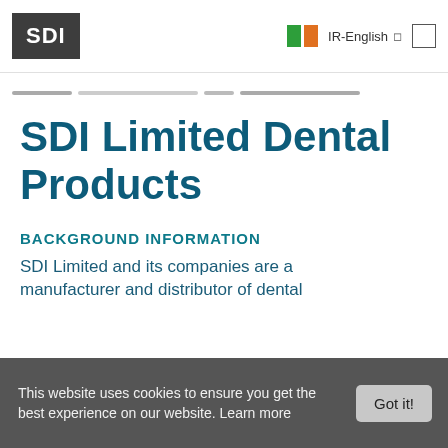SDI  IR-English
SDI Limited Dental Products
BACKGROUND INFORMATION
SDI Limited and its companies are a manufacturer and distributor of dental
This website uses cookies to ensure you get the best experience on our website. Learn more  Got it!